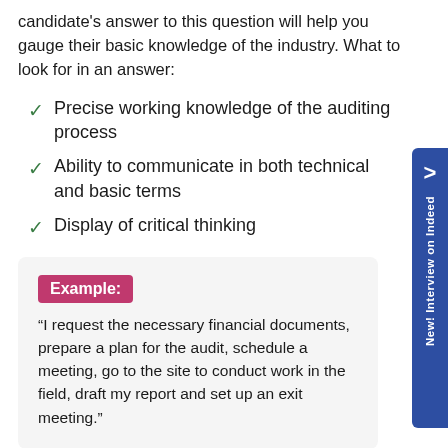candidate's answer to this question will help you gauge their basic knowledge of the industry. What to look for in an answer:
Precise working knowledge of the auditing process
Ability to communicate in both technical and basic terms
Display of critical thinking
Example: “I request the necessary financial documents, prepare a plan for the audit, schedule a meeting, go to the site to conduct work in the field, draft my report and set up an exit meeting.”